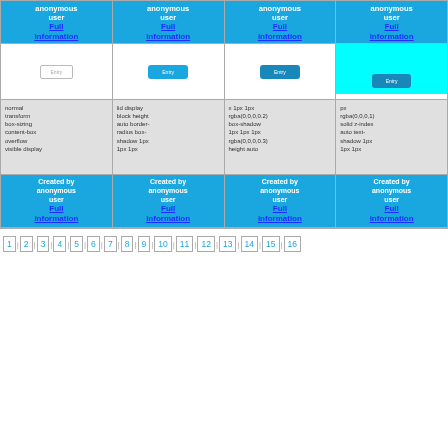[Figure (screenshot): Grid of 4 columns showing CSS button style cards. Top row: 4 blue cards with 'anonymous user' and 'Full information' link. Middle row: 4 preview cells showing different button styles (normal, blue, darker blue, cyan background). Code snippet rows show CSS properties. Bottom row: 4 blue cards with 'Created by anonymous user' and 'Full information' link. Pagination bar at bottom with page numbers 1-16.]
1 2 3 4 5 6 7 8 9 10 11 12 13 14 15 16